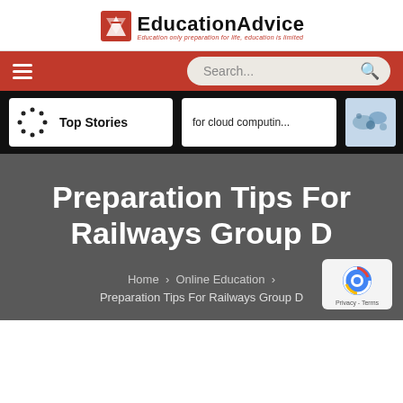EducationAdvice — Education only preparation for life, education is limited
[Figure (logo): EducationAdvice website logo with red book icon and tagline]
[Figure (screenshot): Red navigation bar with hamburger menu and search bar]
[Figure (screenshot): Black stories bar with Top Stories card and cloud computing text card]
Preparation Tips For Railways Group D
Home › Online Education › Preparation Tips For Railways Group D